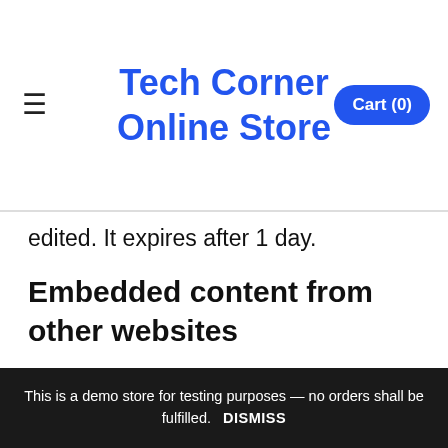Tech Corner Online Store
edited. It expires after 1 day.
Embedded content from other websites
Articles on this site may include embedded content (e.g. videos, images, articles, etc.). Embedded content from other websites behaves in the exact same way as if the visitor has visited the other website.
These websites may collect data about you,
This is a demo store for testing purposes — no orders shall be fulfilled.   DISMISS